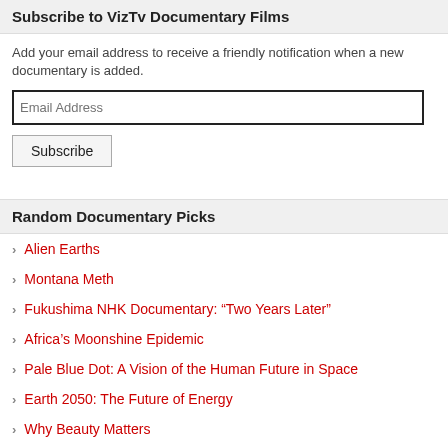Subscribe to VizTv Documentary Films
Add your email address to receive a friendly notification when a new documentary is added.
Random Documentary Picks
Alien Earths
Montana Meth
Fukushima NHK Documentary: “Two Years Later”
Africa’s Moonshine Epidemic
Pale Blue Dot: A Vision of the Human Future in Space
Earth 2050: The Future of Energy
Why Beauty Matters
Bill Gates: How a Geek Changed The World
The Obama Deception